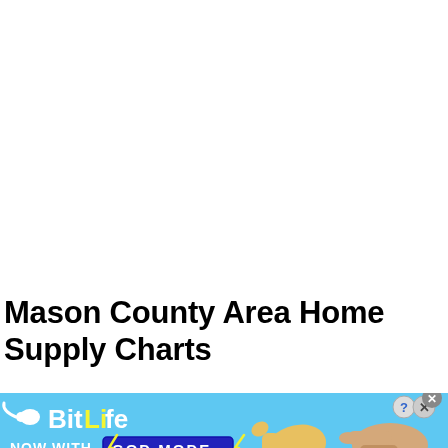Mason County Area Home Supply Charts
[Figure (illustration): BitLife 'NOW WITH GOD MODE' advertisement banner with light blue background, BitLife logo with sperm icon, yellow 'GOD MODE' button in dark blue box with lightning bolt, and cartoon pointing hands on the right side with close/info buttons.]